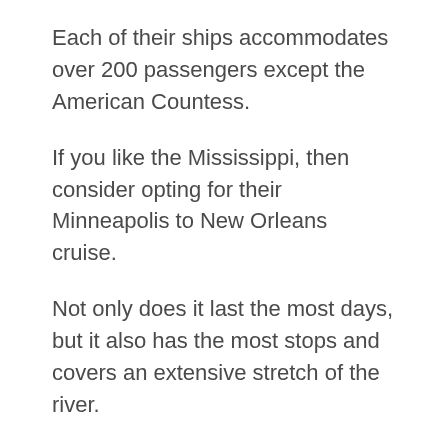Each of their ships accommodates over 200 passengers except the American Countess.
If you like the Mississippi, then consider opting for their Minneapolis to New Orleans cruise.
Not only does it last the most days, but it also has the most stops and covers an extensive stretch of the river.
On the other hand, journeys like Louisville to Nashville or St Louis to Cincinnati are superb if you have less vacation time.
Aboard their vessels, you get to enjoy breathtaking views of the Mississippi on spacious relaxation